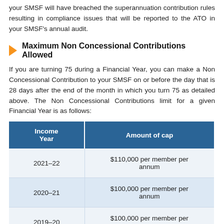your SMSF will have breached the superannuation contribution rules resulting in compliance issues that will be reported to the ATO in your SMSF's annual audit.
Maximum Non Concessional Contributions Allowed
If you are turning 75 during a Financial Year, you can make a Non Concessional Contribution to your SMSF on or before the day that is 28 days after the end of the month in which you turn 75 as detailed above. The Non Concessional Contributions limit for a given Financial Year is as follows:
| Income Year | Amount of cap |
| --- | --- |
| 2021–22 | $110,000 per member per annum |
| 2020–21 | $100,000 per member per annum |
| 2019–20 | $100,000 per member per annum |